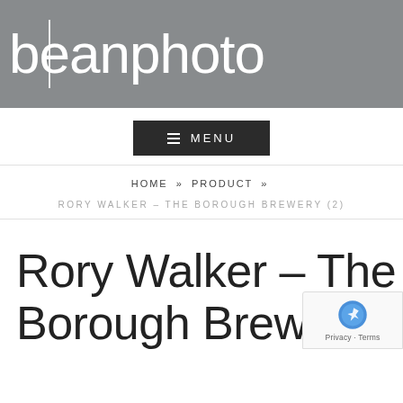[Figure (logo): beanphoto logo — white text on grey background banner]
≡ MENU
HOME » PRODUCT »
RORY WALKER – THE BOROUGH BREWERY (2)
Rory Walker – The Borough Brewery